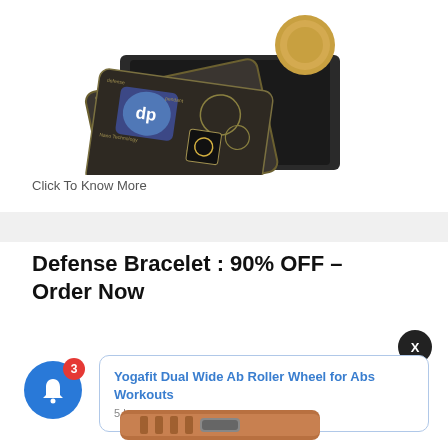[Figure (photo): Product photo of a dark card labeled 'defense pendant Nano Technology' with a golden coin, shown in a dark gift box on a white background.]
Click To Know More
Defense Bracelet : 90% OFF – Order Now
[Figure (screenshot): Notification popup showing 'Yogafit Dual Wide Ab Roller Wheel for Abs Workouts' with '5 hours ago' and a blue notification bell icon with badge '3' and an X close button.]
[Figure (photo): Partial photo of a bracelet/wristband at the bottom of the page.]